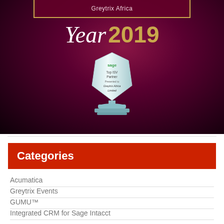[Figure (photo): Award photo: dark maroon/purple background with a glass trophy award on a stand. Banner reads 'Greytrix Africa'. Script text says 'Year' in white italic and '2019' in gold. The trophy reads 'sage Top ISV Partner Presented to Greytrix Africa Limited'.]
Categories
Acumatica
Greytrix Events
GUMU™
Integrated CRM for Sage Intacct